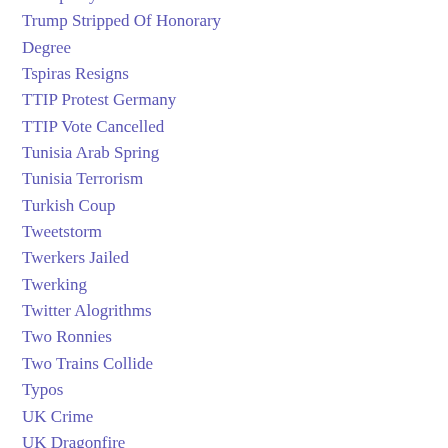Trump Says UK Not Safe
Trump Stripped Of Honorary Degree
Tspiras Resigns
TTIP Protest Germany
TTIP Vote Cancelled
Tunisia Arab Spring
Tunisia Terrorism
Turkish Coup
Tweetstorm
Twerkers Jailed
Twerking
Twitter Alogrithms
Two Ronnies
Two Trains Collide
Typos
UK Crime
UK Dragonfire